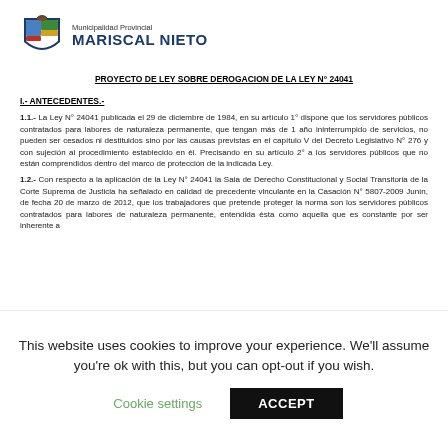[Figure (logo): Municipalidad Provincial Mariscal Nieto coat of arms logo with text]
PROYECTO DE LEY SOBRE DEROGACION DE LA LEY N° 24041
I.- ANTECEDENTES.-
1.1.- La Ley N° 24041 publicada el 29 de diciembre de 1984, en su artículo 1° dispone que los servidores públicos contratados para labores de naturaleza permanente, que tengan más de 1 año ininterrumpido de servicios, no pueden ser cesados ni destituidos sino por las causas previstas en el capítulo V del Decreto Legislativo N° 276 y con sujeción al procedimiento establecido en él. Precisando en su artículo 2° a los servidores públicos que no están comprendidos dentro del marco de protección de la indicada Ley.
1.2.- Con respecto a la aplicación de la Ley N° 24041 la Sala de Derecho Constitucional y Social Transitoria de la Corte Suprema de Justicia ha señalado en calidad de precedente vinculante en la Casación N° 5807-2009 Junín, de fecha 20 de marzo de 2012, que los trabajadores que pretende proteger la norma son los servidores públicos contratados para labores de naturaleza permanente, entendida ésta como aquella que es constante por ser inherente a
This website uses cookies to improve your experience. We'll assume you're ok with this, but you can opt-out if you wish.